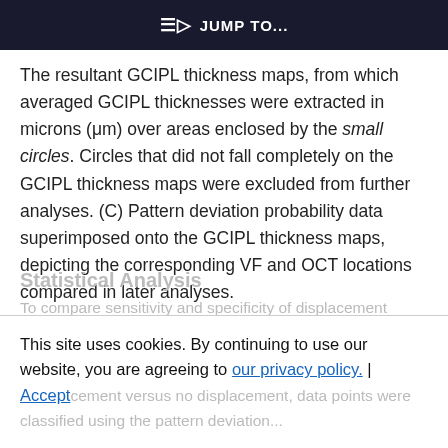≡) JUMP TO...
The resultant GCIPL thickness maps, from which averaged GCIPL thicknesses were extracted in microns (μm) over areas enclosed by the small circles. Circles that did not fall completely on the GCIPL thickness maps were excluded from further analyses. (C) Pattern deviation probability data superimposed onto the GCIPL thickness maps, depicting the corresponding VF and OCT locations compared in later analyses.
Statistical Analysis
To compare sensitivity and specificity of displacement versus no displacement, data points were classified using the pattern deviation...
This site uses cookies. By continuing to use our website, you are agreeing to our privacy policy. Accept